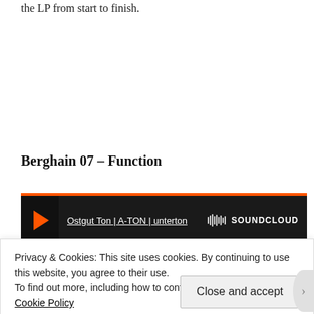the LP from start to finish.
Berghain 07 – Function
[Figure (screenshot): SoundCloud embedded player widget with orange play button, dark background, link text 'Ostgut Ton | A-TON | unterton', and SoundCloud logo on the right.]
Privacy & Cookies: This site uses cookies. By continuing to use this website, you agree to their use.
To find out more, including how to control cookies, see here: Cookie Policy
Close and accept